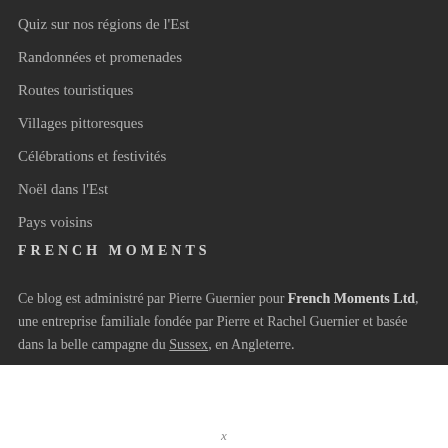Quiz sur nos régions de l'Est
Randonnées et promenades
Routes touristiques
Villages pittoresques
Célébrations et festivités
Noël dans l'Est
Pays voisins
FRENCH MOMENTS
Ce blog est administré par Pierre Guernier pour French Moments Ltd, une entreprise familiale fondée par Pierre et Rachel Guernier et basée dans la belle campagne du Sussex, en Angleterre.
Blog FRENCH MOMENTS